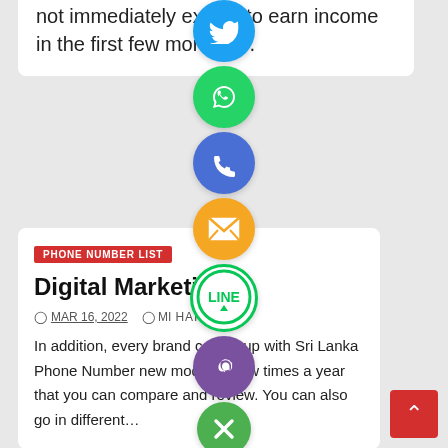not immediately expect to earn income in the first few months,...
[Figure (infographic): Vertical social share button bar with icons: Twitter (blue circle), WhatsApp (green circle), Phone/Viber (blue-purple circle), Email (orange circle with envelope), LINE (white circle with green border and LINE text), Viber (purple circle), Close/X (green circle)]
PHONE NUMBER LIST
Digital Marketing
MAR 16, 2022   MIHAIL
In addition, every brand comes up with Sri Lanka Phone Number new models a few times a year that you can compare and review. You can also go in different…